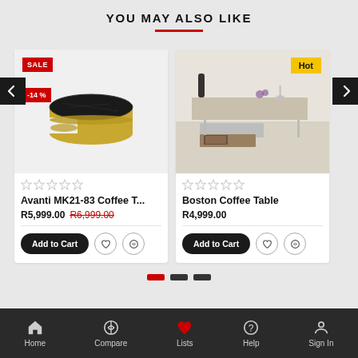YOU MAY ALSO LIKE
[Figure (screenshot): Product card for Avanti MK21-83 Coffee Table with gold/black design, SALE and -14% badges, star rating, price R5,999.00 with crossed out R6,999.00, and Add to Cart button]
[Figure (screenshot): Product card for Boston Coffee Table with modern low table photo, Hot badge, star rating, price R4,999.00, and Add to Cart button]
Home  Compare  Lists  Help  Sign In